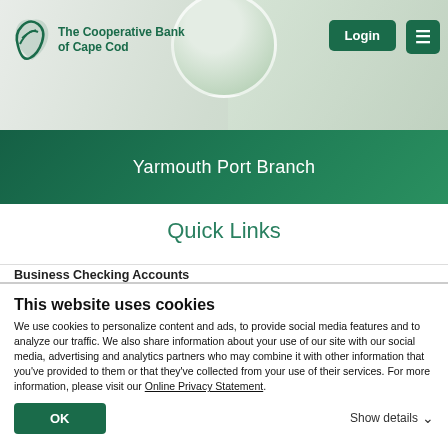[Figure (logo): The Cooperative Bank of Cape Cod logo with green leaf/hand icon and bank name]
Yarmouth Port Branch
Quick Links
Business Checking Accounts
This website uses cookies
We use cookies to personalize content and ads, to provide social media features and to analyze our traffic. We also share information about your use of our site with our social media, advertising and analytics partners who may combine it with other information that you've provided to them or that they've collected from your use of their services. For more information, please visit our Online Privacy Statement.
OK
Show details